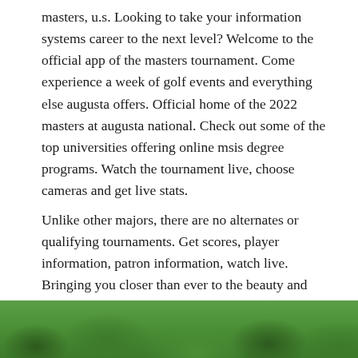masters, u.s. Looking to take your information systems career to the next level? Welcome to the official app of the masters tournament. Come experience a week of golf events and everything else augusta offers. Official home of the 2022 masters at augusta national. Check out some of the top universities offering online msis degree programs. Watch the tournament live, choose cameras and get live stats.
Unlike other majors, there are no alternates or qualifying tournaments. Get scores, player information, patron information, watch live. Bringing you closer than ever to the beauty and excitement of the masters tournament in augusta, ga, . Masters) adalah salah satu dari empat kejuaraan golf profesional utama. Learn how to reset a master lock.
[Figure (photo): A photograph of trees with green foliage, likely taken at Augusta National golf course]